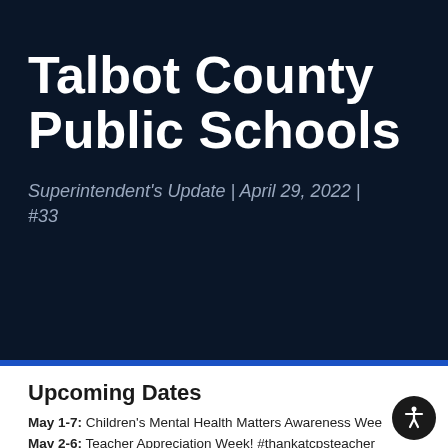Talbot County Public Schools
Superintendent's Update | April 29, 2022 | #33
Upcoming Dates
May 1-7: Children's Mental Health Matters Awareness Week
May 2-6: Teacher Appreciation Week! #thankatcpsteacher